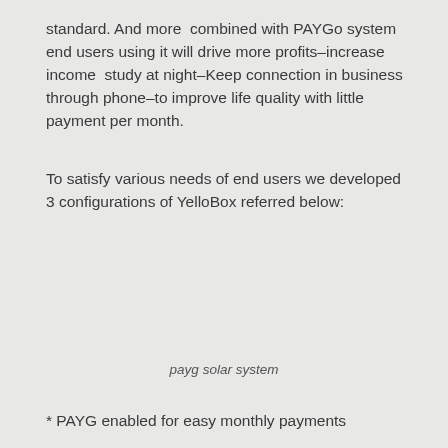standard. And more combined with PAYGo system end users using it will drive more profits–increase income study at night–Keep connection in business through phone–to improve life quality with little payment per month.
To satisfy various needs of end users we developed 3 configurations of YelloBox referred below:
payg solar system
* PAYG enabled for easy monthly payments